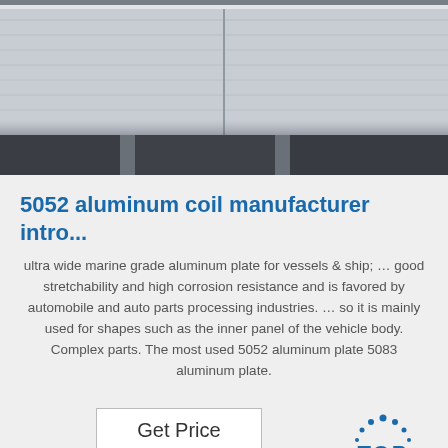[Figure (photo): Stacked aluminum coil/plate pallets in a warehouse, viewed from the side and top]
5052 aluminum coil manufacturer intro...
ultra wide marine grade aluminum plate for vessels & ship; … good stretchability and high corrosion resistance and is favored by automobile and auto parts processing industries. … so it is mainly used for shapes such as the inner panel of the vehicle body. Complex parts. The most used 5052 aluminum plate 5083 aluminum plate.
[Figure (logo): TOP logo with dotted arc above the word TOP in blue]
[Figure (photo): Bottom portion of warehouse floor with aluminum material and boxes]